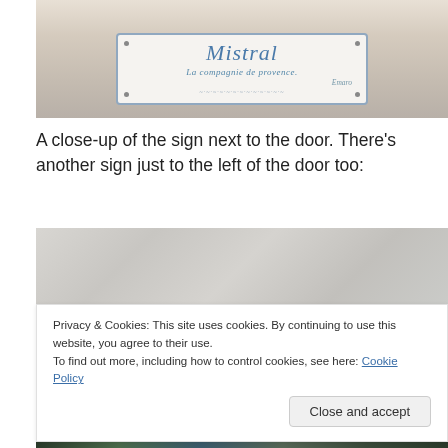[Figure (photo): Close-up of a white ceramic sign with blue decorative border. The sign reads 'Mistral' in cursive blue script at the top, then 'La compagnie de provence.' in italic script below, with a small brand name to the right. Decorative landscape border at the bottom. Mounted with four screws. The sign is on a beige/tan wall.]
A close-up of the sign next to the door. There’s another sign just to the left of the door too:
[Figure (photo): A light gray/white textured wall surface, partially obscured by a cookie consent banner overlay.]
Privacy & Cookies: This site uses cookies. By continuing to use this website, you agree to their use.
To find out more, including how to control cookies, see here: Cookie Policy

Close and accept
[Figure (photo): Bottom sliver of an outdoor photo showing green foliage and a sign, partially visible.]